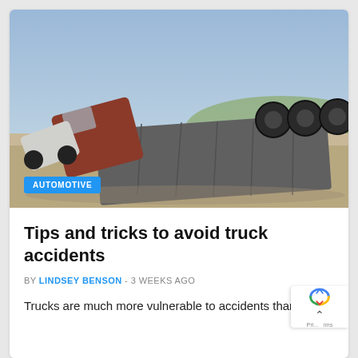[Figure (photo): Overturned semi-truck lying on its side in a field with a clear blue sky in the background. The truck and trailer are upside down, with tires visible.]
AUTOMOTIVE
Tips and tricks to avoid truck accidents
BY LINDSEY BENSON - 3 WEEKS AGO
Trucks are much more vulnerable to accidents than